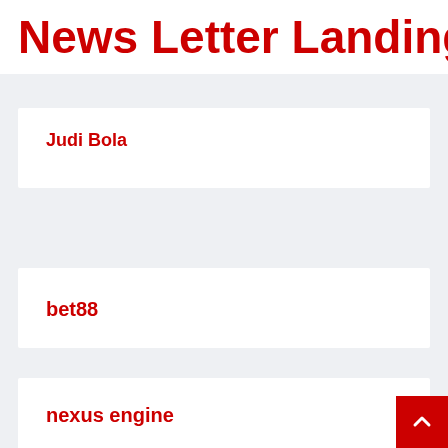News Letter Landing Page
Judi Bola
bet88
nexus engine
gudang slot88